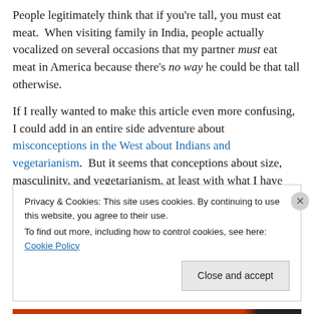People legitimately think that if you're tall, you must eat meat.  When visiting family in India, people actually vocalized on several occasions that my partner must eat meat in America because there's no way he could be that tall otherwise.
If I really wanted to make this article even more confusing, I could add in an entire side adventure about misconceptions in the West about Indians and vegetarianism.  But it seems that conceptions about size, masculinity, and vegetarianism, at least with what I have
Privacy & Cookies: This site uses cookies. By continuing to use this website, you agree to their use.
To find out more, including how to control cookies, see here: Cookie Policy